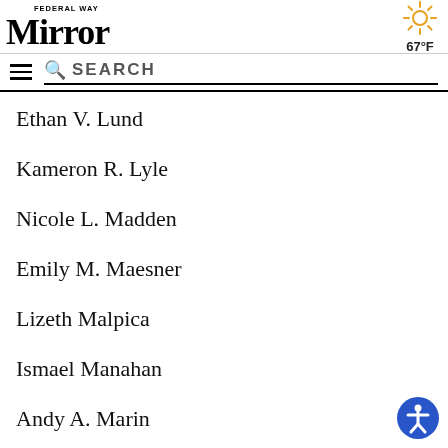Federal Way Mirror | 67°F
Ethan V. Lund
Kameron R. Lyle
Nicole L. Madden
Emily M. Maesner
Lizeth Malpica
Ismael Manahan
Andy A. Marin